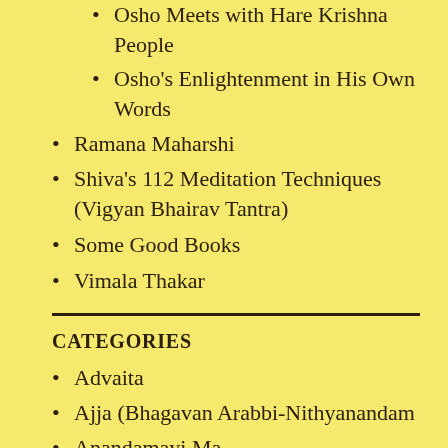Osho Meets with Hare Krishna People
Osho's Enlightenment in His Own Words
Ramana Maharshi
Shiva's 112 Meditation Techniques (Vigyan Bhairav Tantra)
Some Good Books
Vimala Thakar
CATEGORIES
Advaita
Ajja (Bhagavan Arabbi-Nithyanandam
Anandamayi Ma
Atmananda (Krishna Menon)